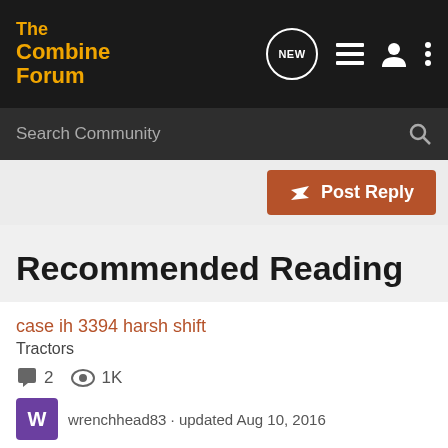The Combine Forum
Recommended Reading
case ih 3394 harsh shift · Tractors · 2 comments · 1K views · wrenchhead83 · updated Aug 10, 2016
john deere 8400t help needed · Farm Shops and Tools